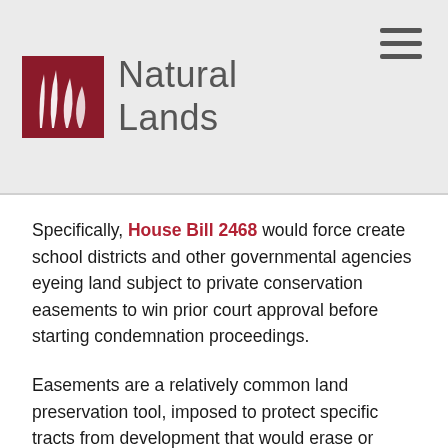Natural Lands
Specifically, House Bill 2468 would force create school districts and other governmental agencies eyeing land subject to private conservation easements to win prior court approval before starting condemnation proceedings.
Easements are a relatively common land preservation tool, imposed to protect specific tracts from development that would erase or threaten a variety of open space benefits.
Some worry that strength of that tool is now being threatened statewide by recent actions of two Pennsylvania school districts that have moved on